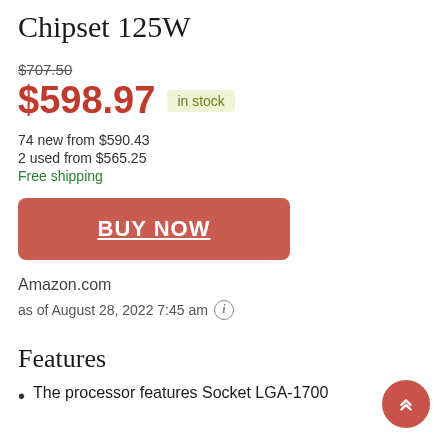Chipset 125W
$707.50
$598.97  in stock
74 new from $590.43
2 used from $565.25
Free shipping
BUY NOW
Amazon.com
as of August 28, 2022 7:45 am
Features
The processor features Socket LGA-1700